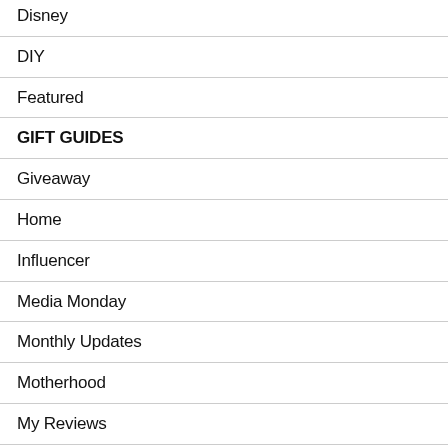Disney
DIY
Featured
GIFT GUIDES
Giveaway
Home
Influencer
Media Monday
Monthly Updates
Motherhood
My Reviews
Pregnancy